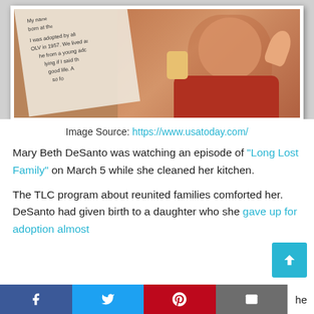[Figure (photo): A vintage photograph showing a smiling baby in red clothing, with handwritten text visible on the left side of the photo reading partial lines about adoption and OLV in 1957]
Image Source: https://www.usatoday.com/
Mary Beth DeSanto was watching an episode of "Long Lost Family" on March 5 while she cleaned her kitchen.
The TLC program about reunited families comforted her. DeSanto had given birth to a daughter who she gave up for adoption almost
[Facebook] [Twitter] [Pinterest] [Email] he